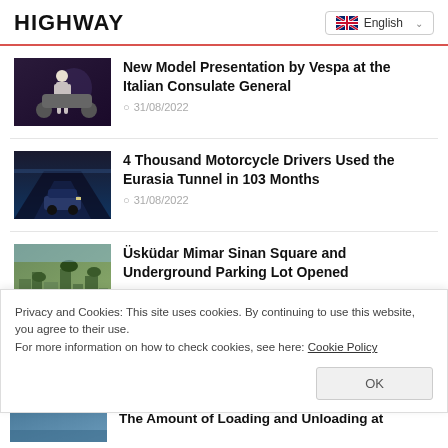HIGHWAY
English
New Model Presentation by Vespa at the Italian Consulate General
31/08/2022
4 Thousand Motorcycle Drivers Used the Eurasia Tunnel in 103 Months
31/08/2022
Üsküdar Mimar Sinan Square and Underground Parking Lot Opened
Privacy and Cookies: This site uses cookies. By continuing to use this website, you agree to their use.
For more information on how to check cookies, see here: Cookie Policy
OK
The Amount of Loading and Unloading at